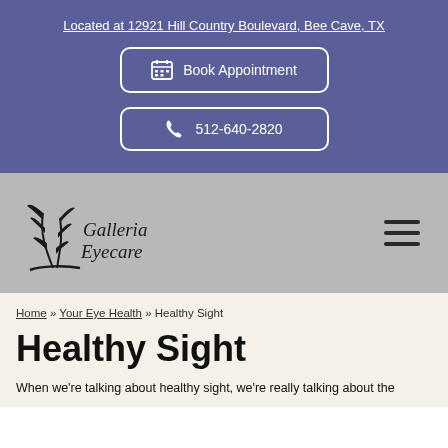Located at 12921 Hill Country Boulevard, Bee Cave, TX
Book Appointment
512-640-2820
[Figure (logo): Galleria Eyecare logo with stylized wheat/feather plant illustration and italic serif text]
Home » Your Eye Health » Healthy Sight
Healthy Sight
When we're talking about healthy sight, we're really talking about the